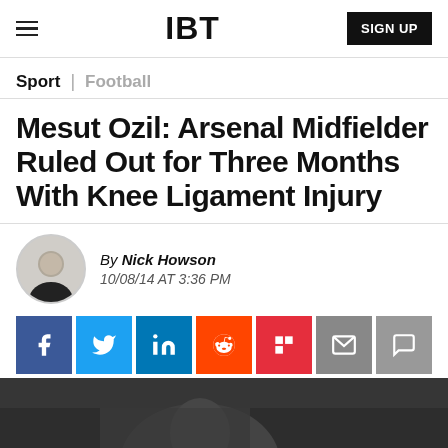IBT | SIGN UP
Sport | Football
Mesut Ozil: Arsenal Midfielder Ruled Out for Three Months With Knee Ligament Injury
By Nick Howson
10/08/14 AT 3:36 PM
[Figure (infographic): Social share buttons: Facebook, Twitter, LinkedIn, Reddit, Flipboard, Email, Comment]
[Figure (photo): Blurred photo of a person, partial view at bottom of page]